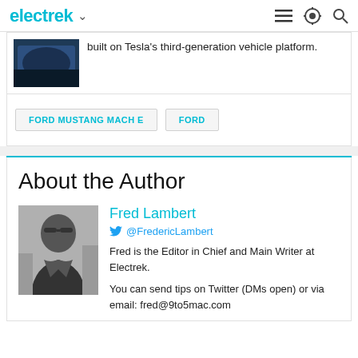electrek
built on Tesla's third-generation vehicle platform.
FORD MUSTANG MACH E   FORD
About the Author
[Figure (photo): Black and white photo of Fred Lambert, a man wearing glasses and a jacket, looking to the side.]
Fred Lambert
@FredericLambert
Fred is the Editor in Chief and Main Writer at Electrek.
You can send tips on Twitter (DMs open) or via email: fred@9to5mac.com